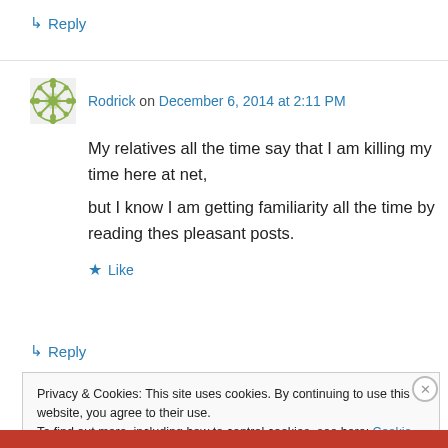↳ Reply
Rodrick on December 6, 2014 at 2:11 PM
My relatives all the time say that I am killing my time here at net, but I know I am getting familiarity all the time by reading thes pleasant posts.
★ Like
↳ Reply
Privacy & Cookies: This site uses cookies. By continuing to use this website, you agree to their use. To find out more, including how to control cookies, see here: Cookie Policy
Close and accept